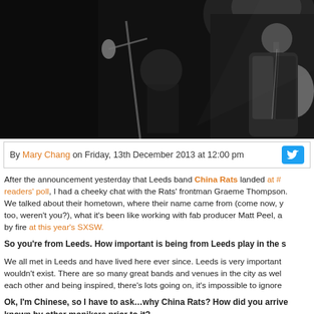[Figure (photo): Black and white concert photo showing a guitarist in leather jacket performing on stage with a microphone stand visible and another musician in the background]
By Mary Chang on Friday, 13th December 2013 at 12:00 pm
After the announcement yesterday that Leeds band China Rats landed at # readers' poll, I had a cheeky chat with the Rats' frontman Graeme Thompson. We talked about their hometown, where their name came from (come now, y too, weren't you?), what it's been like working with fab producer Matt Peel, a by fire at this year's SXSW.
So you're from Leeds. How important is being from Leeds play in the s
We all met in Leeds and have lived here ever since. Leeds is very important wouldn't exist. There are so many great bands and venues in the city as wel each other and being inspired, there's lots going on, it's impossible to ignore
Ok, I'm Chinese, so I have to ask…why China Rats? How did you arrive known by other monikers prior to it?
Luke and me kept a pet rat a couple of years back whose cage was made in band in memory of our rat. RIP. We've been playing together in various qui